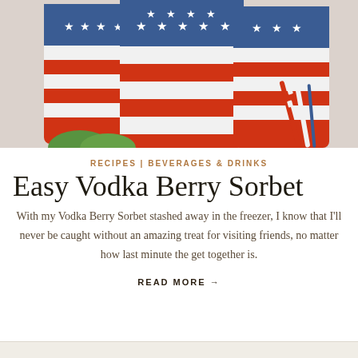[Figure (photo): Patriotic red, white, and blue striped cups with stars, alongside striped straws, on a wooden surface with green leaves]
RECIPES | BEVERAGES & DRINKS
Easy Vodka Berry Sorbet
With my Vodka Berry Sorbet stashed away in the freezer, I know that I'll never be caught without an amazing treat for visiting friends, no matter how last minute the get together is.
READ MORE →